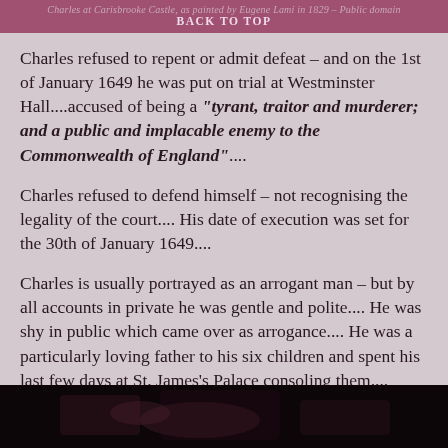Charles at Carisbrooke Castle, as painted by Eugene Lami in 1829 – Public domain
BACK TO TOP
Charles refused to repent or admit defeat – and on the 1st of January 1649 he was put on trial at Westminster Hall....accused of being a "tyrant, traitor and murderer; and a public and implacable enemy to the Commonwealth of England"....
Charles refused to defend himself – not recognising the legality of the court.... His date of execution was set for the 30th of January 1649....
Charles is usually portrayed as an arrogant man – but by all accounts in private he was gentle and polite.... He was shy in public which came over as arrogance.... He was a particularly loving father to his six children and spent his last few days at St. James's Palace consoling them....
[Figure (photo): Dark historical painting or image at the bottom of the page]